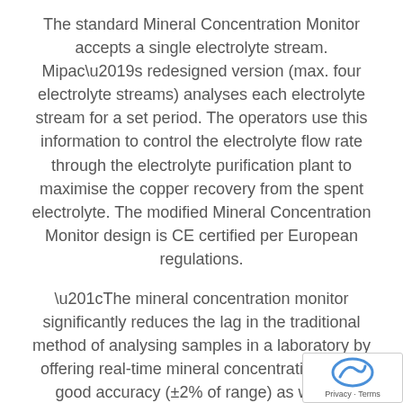The standard Mineral Concentration Monitor accepts a single electrolyte stream. Mipac's redesigned version (max. four electrolyte streams) analyses each electrolyte stream for a set period. The operators use this information to control the electrolyte flow rate through the electrolyte purification plant to maximise the copper recovery from the spent electrolyte. The modified Mineral Concentration Monitor design is CE certified per European regulations.
“The mineral concentration monitor significantly reduces the lag in the traditional method of analysing samples in a laboratory by offering real-time mineral concentrations with good accuracy (±2% of range) as well as interface to a plant control system and…